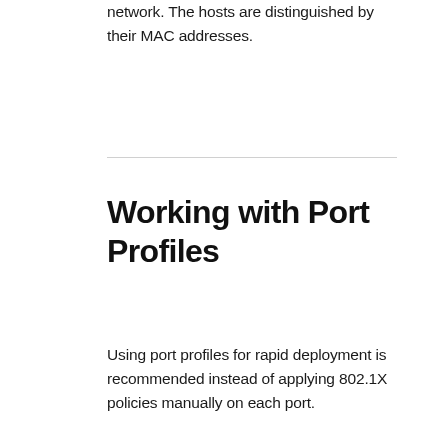network. The hosts are distinguished by their MAC addresses.
Working with Port Profiles
Using port profiles for rapid deployment is recommended instead of applying 802.1X policies manually on each port.